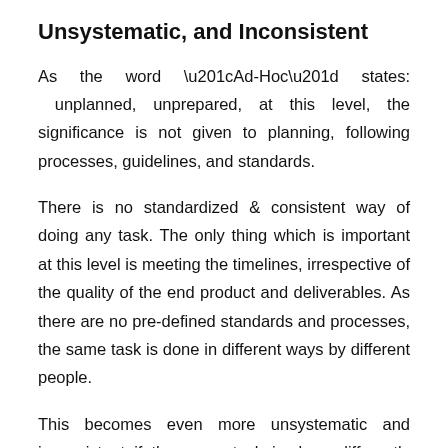Unsystematic, and Inconsistent
As the word “Ad-Hoc” states: unplanned, unprepared, at this level, the significance is not given to planning, following processes, guidelines, and standards.
There is no standardized & consistent way of doing any task. The only thing which is important at this level is meeting the timelines, irrespective of the quality of the end product and deliverables. As there are no pre-defined standards and processes, the same task is done in different ways by different people.
This becomes even more unsystematic and inconsistent if the same task is done differently next